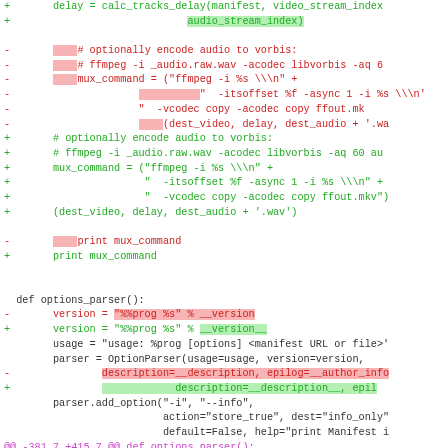[Figure (screenshot): A code diff view showing Python code changes related to mux_command and options_parser function, with removed lines in red and added lines in green, including highlighted diff markers.]